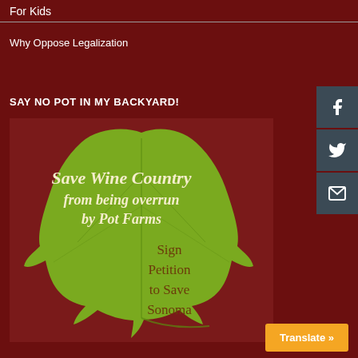For Kids
Why Oppose Legalization
SAY NO POT IN MY BACKYARD!
[Figure (illustration): A green grape leaf on a dark red background with italic white text reading 'Save Wine Country from being overrun by Pot Farms' and brown text reading 'Sign Petition to Save Sonoma']
Translate »